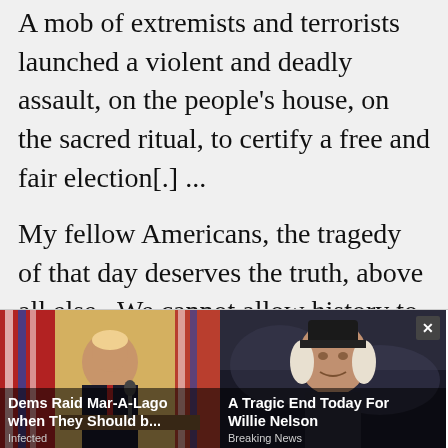A mob of extremists and terrorists launched a violent and deadly assault, on the people's house, on the sacred ritual, to certify a free and fair election[.] ...
My fellow Americans, the tragedy of that day deserves the truth, above all else. We cannot allow history to be re-written…we have to understand what happened, the honest and unvarnished truth. We have to face it. That's what great nations do, and we are a great nation…the threats, the violence, the savageness (sic)[.] ... My fellow Americans, let's remember what this was all about. It was a violent attempt to overturn the will of the American people, to seek power at all
[Figure (screenshot): Advertisement overlay with two clickbait ads: left ad shows a person (appears to be Trump) at a desk with US flags, headline 'Dems Raid Mar-A-Lago when They Should b...' sourced from 'Infected'; right ad shows an elderly man (appears to be Willie Nelson), headline 'A Tragic End Today For Willie Nelson' sourced from 'Breaking News', with a close (X) button.]